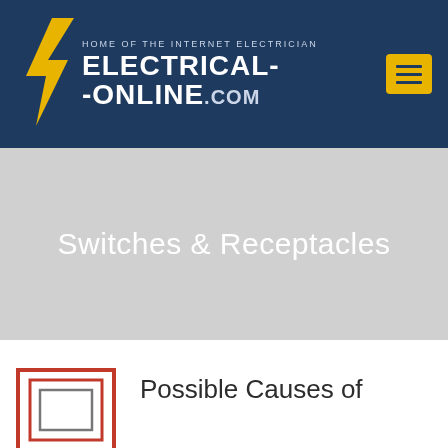HOME OF THE INTERNET ELECTRICIAN | ELECTRICAL-ONLINE.COM
Switches & Receptacles
Possible Causes of
[Figure (illustration): Electrical outlet / receptacle schematic icon shown in red and gray outline]